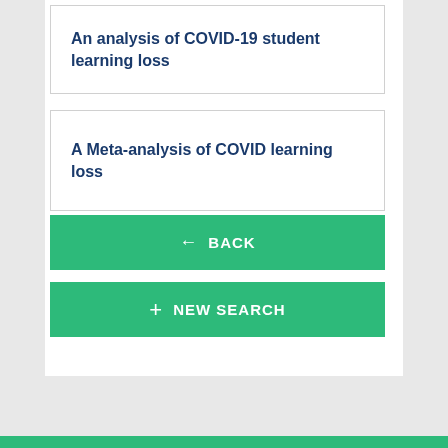An analysis of COVID-19 student learning loss
A Meta-analysis of COVID learning loss
← BACK
+ NEW SEARCH